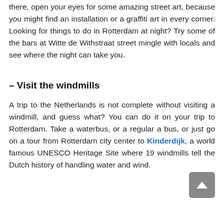there, open your eyes for some amazing street art, because you might find an installation or a graffiti art in every corner. Looking for things to do in Rotterdam at night? Try some of the bars at Witte de Withstraat street mingle with locals and see where the night can take you.
– Visit the windmills
A trip to the Netherlands is not complete without visiting a windmill, and guess what? You can do it on your trip to Rotterdam. Take a waterbus, or a regular a bus, or just go on a tour from Rotterdam city center to Kinderdijk, a world famous UNESCO Heritage Site where 19 windmills tell the Dutch history of handling water and wind.